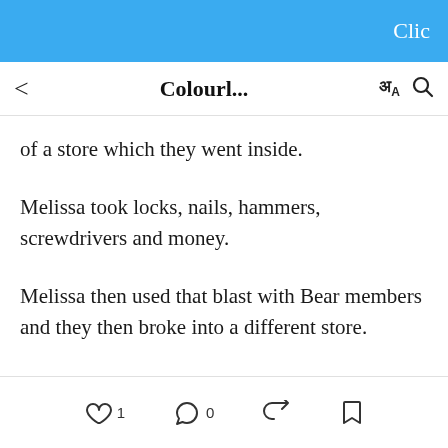Clic
< Colourl... अA 🔍
of a store which they went inside.
Melissa took locks, nails, hammers, screwdrivers and money.
Melissa then used that blast with Bear members and they then broke into a different store.
♡ 1   ○ 0   share   bookmark